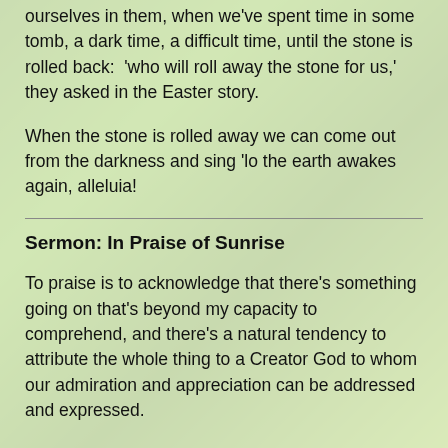ourselves in them, when we've spent time in some tomb, a dark time, a difficult time, until the stone is rolled back:  'who will roll away the stone for us,' they asked in the Easter story.
When the stone is rolled away we can come out from the darkness and sing 'lo the earth awakes again, alleluia!
Sermon: In Praise of Sunrise
To praise is to acknowledge that there's something going on that's beyond my capacity to comprehend, and there's a natural tendency to attribute the whole thing to a Creator God to whom our admiration and appreciation can be addressed and expressed.